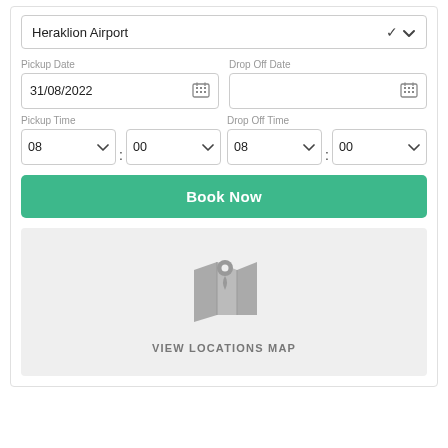Heraklion Airport
Pickup Date: 31/08/2022
Drop Off Date:
Pickup Time: 08 : 00
Drop Off Time: 08 : 00
Book Now
[Figure (illustration): Map location pin icon over a folded map graphic]
VIEW LOCATIONS MAP